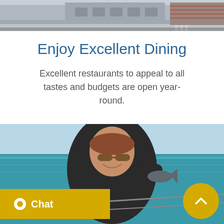[Figure (photo): Top portion of street scene with buildings, partially cropped at top of page]
Enjoy Excellent Dining
Excellent restaurants to appeal to all tastes and budgets are open year-round.
[Figure (photo): Woman on a boat holding a fish, smiling, wearing sunglasses and a dark jacket, with turquoise ocean water in the background]
Chat